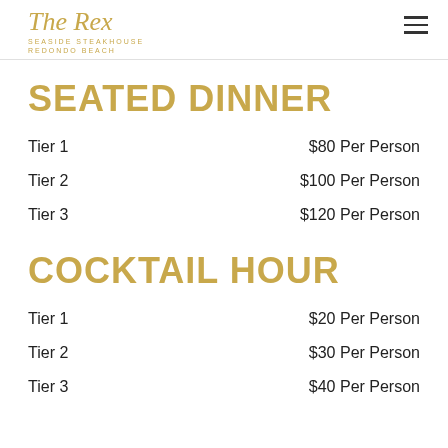The Rex Seaside Steakhouse Redondo Beach
SEATED DINNER
Tier 1    $80 Per Person
Tier 2    $100 Per Person
Tier 3    $120 Per Person
COCKTAIL HOUR
Tier 1    $20 Per Person
Tier 2    $30 Per Person
Tier 3    $40 Per Person